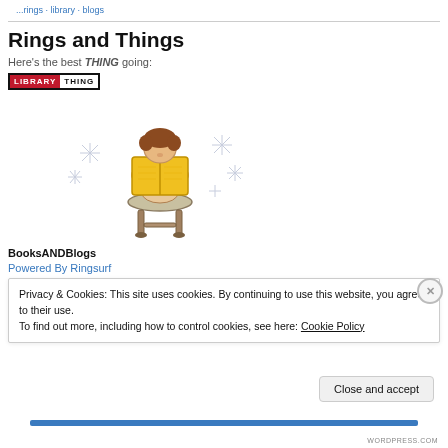...rings - library - blogs
Rings and Things
Here's the best THING going:
[Figure (logo): LibraryThing logo: red box with 'LIBRARY' in white text and white box with 'THING' in black text, bordered]
[Figure (illustration): Cartoon illustration of a person sitting on a stool reading a large yellow book, with sparkle/star decorations around them]
BooksANDBlogs
Powered By Ringsurf
Privacy & Cookies: This site uses cookies. By continuing to use this website, you agree to their use.
To find out more, including how to control cookies, see here: Cookie Policy
Close and accept
WORDPRESS.COM